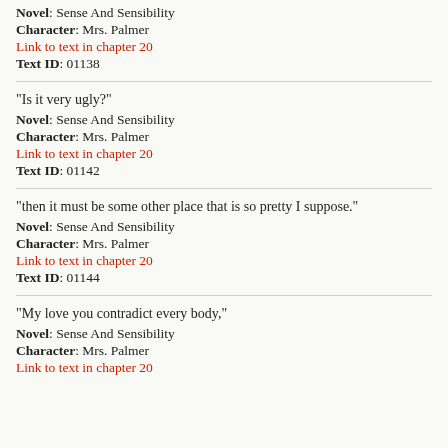Novel: Sense And Sensibility
Character: Mrs. Palmer
Link to text in chapter 20
Text ID: 01138
"Is it very ugly?"
Novel: Sense And Sensibility
Character: Mrs. Palmer
Link to text in chapter 20
Text ID: 01142
"then it must be some other place that is so pretty I suppose."
Novel: Sense And Sensibility
Character: Mrs. Palmer
Link to text in chapter 20
Text ID: 01144
"My love you contradict every body,"
Novel: Sense And Sensibility
Character: Mrs. Palmer
Link to text in chapter 20